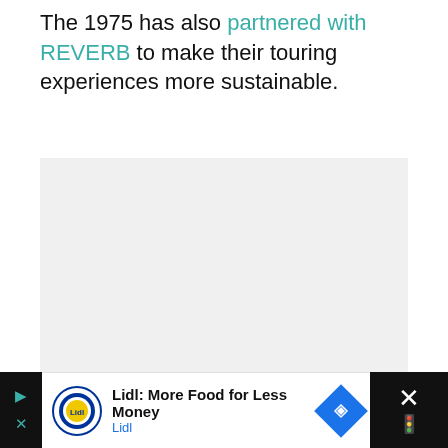The 1975 has also partnered with REVERB to make their touring experiences more sustainable.
[Figure (photo): Large image placeholder area (loading state) with three small square dots centered, indicating a carousel or loading indicator.]
[Figure (other): Advertisement banner at bottom: Lidl logo on left, text 'Lidl: More Food for Less Money / Lidl', blue navigation diamond icon, close X button on the right against a dark background.]